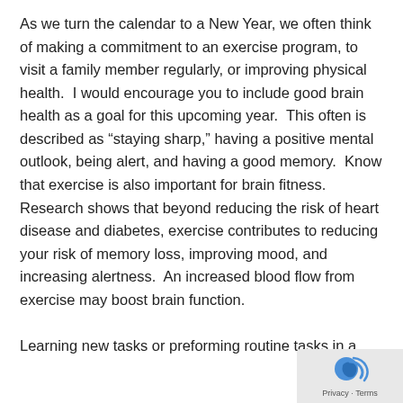As we turn the calendar to a New Year, we often think of making a commitment to an exercise program, to visit a family member regularly, or improving physical health.  I would encourage you to include good brain health as a goal for this upcoming year.  This often is described as “staying sharp,” having a positive mental outlook, being alert, and having a good memory.  Know that exercise is also important for brain fitness.  Research shows that beyond reducing the risk of heart disease and diabetes, exercise contributes to reducing your risk of memory loss, improving mood, and increasing alertness.  An increased blood flow from exercise may boost brain function.

Learning new tasks or preforming routine tasks in a